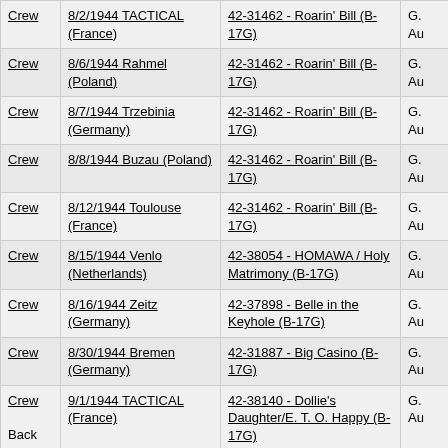|  | Mission | Aircraft |  |
| --- | --- | --- | --- |
| Crew | 8/2/1944 TACTICAL (France) | 42-31462 - Roarin' Bill (B-17G) | G. Au |
| Crew | 8/6/1944 Rahmel (Poland) | 42-31462 - Roarin' Bill (B-17G) | G. Au |
| Crew | 8/7/1944 Trzebinia (Germany) | 42-31462 - Roarin' Bill (B-17G) | G. Au |
| Crew | 8/8/1944 Buzau (Poland) | 42-31462 - Roarin' Bill (B-17G) | G. Au |
| Crew | 8/12/1944 Toulouse (France) | 42-31462 - Roarin' Bill (B-17G) | G. Au |
| Crew | 8/15/1944 Venlo (Netherlands) | 42-38054 - HOMAWA / Holy Matrimony (B-17G) | G. Au |
| Crew | 8/16/1944 Zeitz (Germany) | 42-37898 - Belle in the Keyhole (B-17G) | G. Au |
| Crew | 8/30/1944 Bremen (Germany) | 42-31887 - Big Casino (B-17G) | G. Au |
| Crew | 9/1/1944 TACTICAL (France) | 42-38140 - Dollie's Daughter/E. T. O. Happy (B-17G) | G. Au |
Back